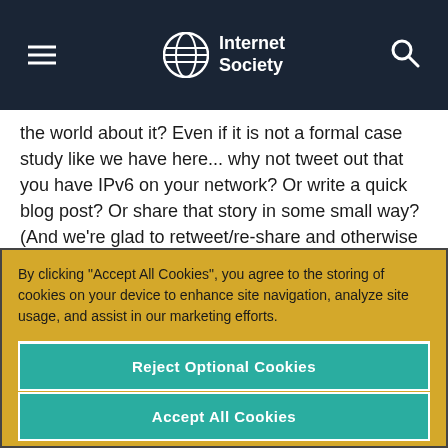Internet Society
the world about it?  Even if it is not a formal case study like we have here... why not tweet out that you have IPv6 on your network?  Or write a quick blog post?  Or share that story in some small way?  (And we’re glad to retweet/re-share and otherwise amplify stories we see out there.)
By clicking “Accept All Cookies”, you agree to the storing of cookies on your device to enhance site navigation, analyze site usage, and assist in our marketing efforts.
Cookies Settings
Reject Optional Cookies
Accept All Cookies